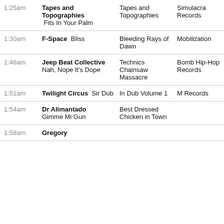| Time | Artist / Track | Album | Label |
| --- | --- | --- | --- |
| 1:25am | Tapes and Topographies  Fits In Your Palm | Tapes and Topographies | Simulacra Records |
| 1:30am | F-Space  Bliss | Bleeding Rays of Dawn | Mobilization |
| 1:48am | Jeep Beat Collective  Nah, Nope It's Dope | Technics Chainsaw Massacre | Bomb Hip-Hop Records |
| 1:51am | Twilight Circus  Sir Dub | In Dub Volume 1 | M Records |
| 1:54am | Dr Alimantado  Gimme Mi Gun | Best Dressed Chicken in Town |  |
| 1:58am | Gregory |  |  |